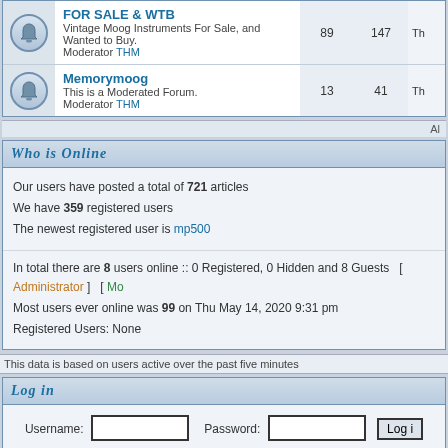|  | Forum | Topics | Posts | Last Post |
| --- | --- | --- | --- | --- |
| [icon] | FOR SALE & WTB
Vintage Moog Instruments For Sale, and Wanted to Buy.
Moderator THM | 89 | 147 | Th |
| [icon] | Memorymoog
This is a Moderated Forum.
Moderator THM | 13 | 41 | Th |
All
Who is Online
Our users have posted a total of 721 articles
We have 359 registered users
The newest registered user is mp500
In total there are 8 users online :: 0 Registered, 0 Hidden and 8 Guests  [ Administrator ]  [ Mo
Most users ever online was 99 on Thu May 14, 2020 9:31 pm
Registered Users: None
This data is based on users active over the past five minutes
Log in
Username: [input] Password: [input] Log in
New posts   [icon]   No new posts   Forum is locked
Powered by phpBB © 2001, 2005 phpBB Group